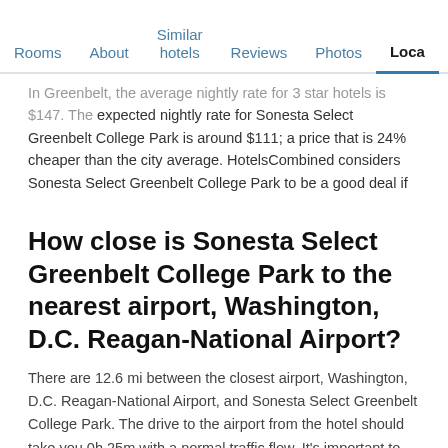Rooms | About | Similar hotels | Reviews | Photos | Loca…
In Greenbelt, the average nightly rate for 3 star hotels is $147. The expected nightly rate for Sonesta Select Greenbelt College Park is around $111; a price that is 24% cheaper than the city average. HotelsCombined considers Sonesta Select Greenbelt College Park to be a good deal if you're looking to stay at a 3 stars hotel in Greenbelt.
How close is Sonesta Select Greenbelt College Park to the nearest airport, Washington, D.C. Reagan-National Airport?
There are 12.6 mi between the closest airport, Washington, D.C. Reagan-National Airport, and Sonesta Select Greenbelt College Park. The drive to the airport from the hotel should take you 0h 25m with a normal traffic flow. It's important to take high traffic times into consideration, especially in metropolitan areas.
Is Sonesta Select Greenbelt College Park